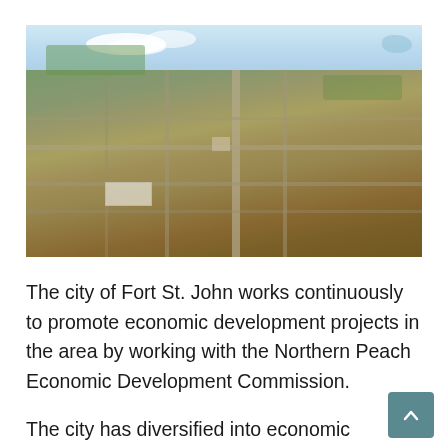[Figure (photo): Aerial photograph of Fort St. John, showing a bird's eye view of the city with grid streets, buildings, green spaces, and a highway intersection. Sky with clouds visible at top.]
The city of Fort St. John works continuously to promote economic development projects in the area by working with the Northern Peach Economic Development Commission.
The city has diversified into economic